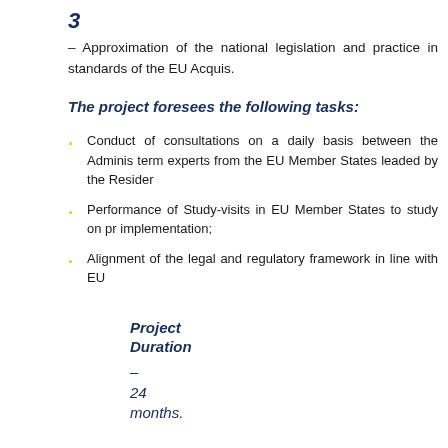3
– Approximation of the national legislation and practice in standards of the EU Acquis.
The project foresees the following tasks:
Conduct of consultations on a daily basis between the Adminis term experts from the EU Member States leaded by the Residen
Performance of Study-visits in EU Member States to study on pr implementation;
Alignment of the legal and regulatory framework in line with EU
Project Duration – 24 months.